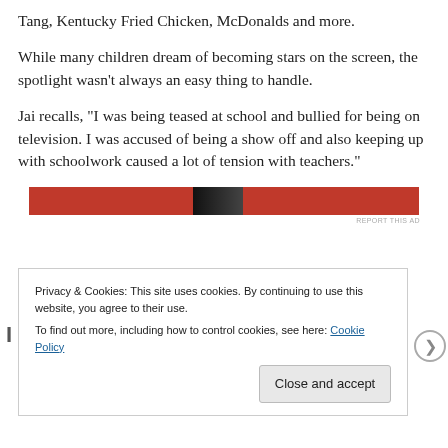Tang, Kentucky Fried Chicken, McDonalds and more.
While many children dream of becoming stars on the screen, the spotlight wasn’t always an easy thing to handle.
Jai recalls, “I was being teased at school and bullied for being on television. I was accused of being a show off and also keeping up with schoolwork caused a lot of tension with teachers.”
[Figure (other): Red advertisement banner with dark center section]
REPORT THIS AD
Privacy & Cookies: This site uses cookies. By continuing to use this website, you agree to their use.
To find out more, including how to control cookies, see here: Cookie Policy
Close and accept